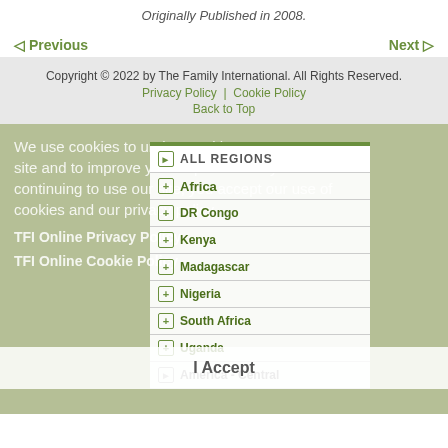Originally Published in 2008.
◁ Previous
Next ▷
Copyright © 2022 by The Family International. All Rights Reserved.
Privacy Policy | Cookie Policy
Back to Top
We use cookies to understand how you use our site and to improve your experience. By continuing to use our site, you accept our use of cookies and our privacy policy.
TFI Online Privacy Policy
TFI Online Cookie Policy
ALL REGIONS
+ Africa
+ DR Congo
+ Kenya
+ Madagascar
+ Nigeria
+ South Africa
+ Uganda
+ America - Central
I Accept